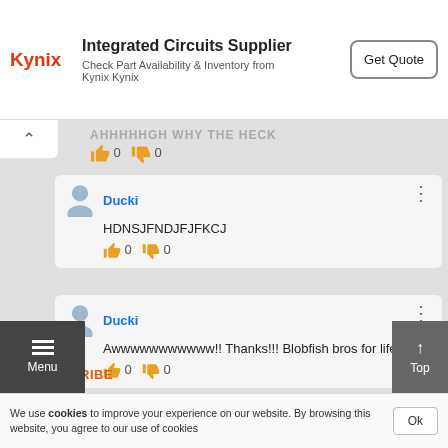[Figure (infographic): Kynix advertisement banner: Integrated Circuits Supplier, Check Part Availability & Inventory from Kynix Kynix, with Get Quote button]
AHHHHHGH WHY THE HECK
👍 0  👎 0
Ducki
HDNSJFNDJFJFKCJ
👍 0  👎 0
Ducki
Awwwwwwwwwww!! Thanks!!! Blobfish bros for life xD
👍 0  👎 0
SUBSCRIBE
We use cookies to improve your experience on our website. By browsing this website, you agree to our use of cookies